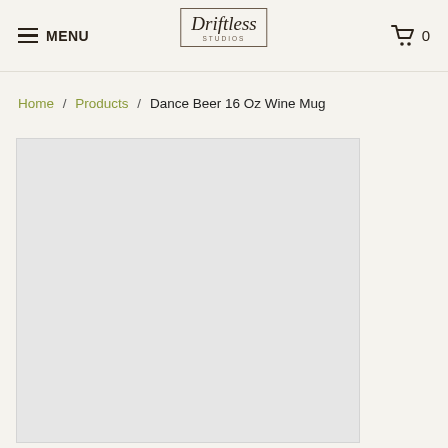MENU | Driftless Studios | 0
Home / Products / Dance Beer 16 Oz Wine Mug
[Figure (photo): Product image placeholder — light gray rectangle representing the Dance Beer 16 Oz Wine Mug product photo]